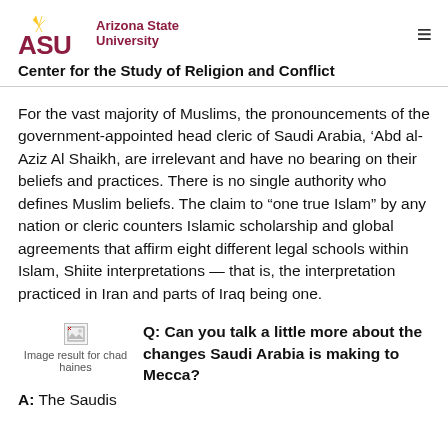[Figure (logo): Arizona State University logo with ASU letters in maroon and sun icon, alongside 'Arizona State University' text in maroon]
Center for the Study of Religion and Conflict
For the vast majority of Muslims, the pronouncements of the government-appointed head cleric of Saudi Arabia, 'Abd al-Aziz Al Shaikh, are irrelevant and have no bearing on their beliefs and practices. There is no single authority who defines Muslim beliefs. The claim to “one true Islam” by any nation or cleric counters Islamic scholarship and global agreements that affirm eight different legal schools within Islam, Shiite interpretations — that is, the interpretation practiced in Iran and parts of Iraq being one.
[Figure (photo): Image result for chad haines — placeholder image with broken image icon]
Q: Can you talk a little more about the changes Saudi Arabia is making to Mecca?
A: The Saudis...